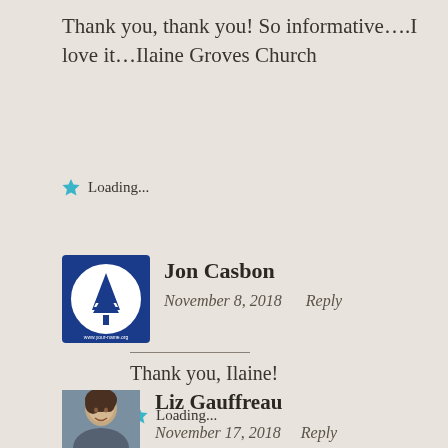Thank you, thank you! So informative….I love it…Ilaine Groves Church
Loading...
[Figure (logo): Blue square logo with white tree (pine/conifer) design inside a circle, text around the border]
Jon Casbon
November 8, 2018    Reply
Thank you, Ilaine!
Loading...
[Figure (photo): Partial photo of a woman (Liz Gauffreau), cropped at bottom of page]
Liz Gauffreau
November 17, 2018    Reply